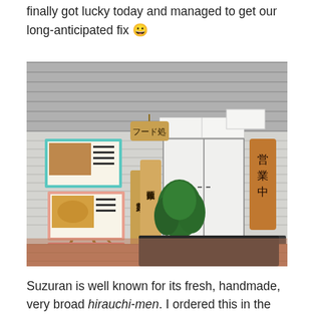finally got lucky today and managed to get our long-anticipated fix 😀
[Figure (photo): Exterior of a Japanese restaurant called Suzuran. A wooden easel displays three menu boards with food photos. Wooden signs with Japanese characters stand in front of the entrance, along with a potted plant. A brown wooden sign on the right reads 営業中 (Open). The building has white wood paneling and sliding doors.]
Suzuran is well known for its fresh, handmade, very broad hirauchi-men. I ordered this in the form of a miso